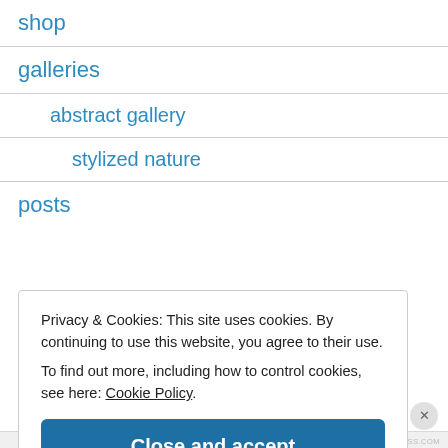shop
galleries
abstract gallery
stylized nature
posts
Privacy & Cookies: This site uses cookies. By continuing to use this website, you agree to their use.
To find out more, including how to control cookies, see here: Cookie Policy
Close and accept